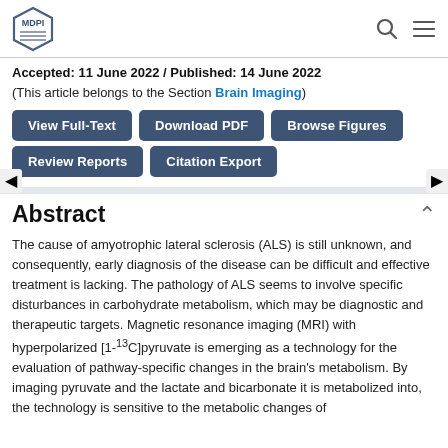MDPI [logo] / Search / Menu
Accepted: 11 June 2022 / Published: 14 June 2022
(This article belongs to the Section Brain Imaging)
View Full-Text
Download PDF
Browse Figures
Review Reports
Citation Export
Abstract
The cause of amyotrophic lateral sclerosis (ALS) is still unknown, and consequently, early diagnosis of the disease can be difficult and effective treatment is lacking. The pathology of ALS seems to involve specific disturbances in carbohydrate metabolism, which may be diagnostic and therapeutic targets. Magnetic resonance imaging (MRI) with hyperpolarized [1-13C]pyruvate is emerging as a technology for the evaluation of pathway-specific changes in the brain's metabolism. By imaging pyruvate and the lactate and bicarbonate it is metabolized into, the technology is sensitive to the metabolic changes of